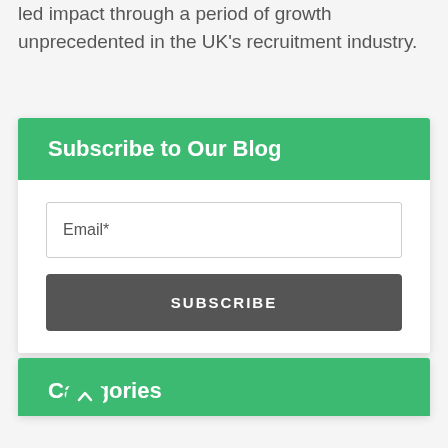led impact through a period of growth unprecedented in the UK's recruitment industry.
Subscribe to Our Blog
Email*
SUBSCRIBE
Categories